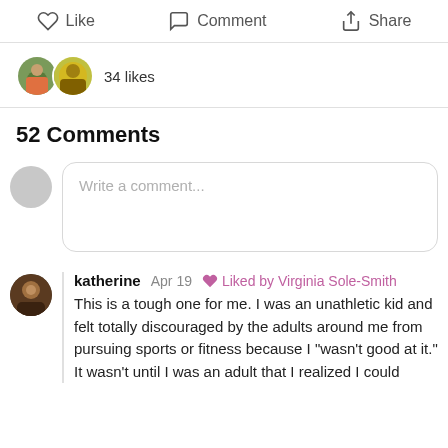Like  Comment  Share
34 likes
52 Comments
Write a comment...
katherine  Apr 19  Liked by Virginia Sole-Smith
This is a tough one for me. I was an unathletic kid and felt totally discouraged by the adults around me from pursuing sports or fitness because I “wasn't good at it.” It wasn't until I was an adult that I realized I could